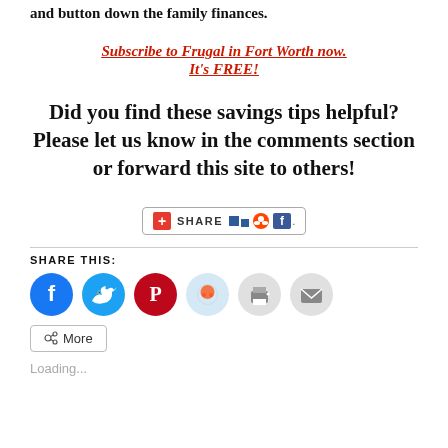and button down the family finances.
Subscribe to Frugal in Fort Worth now.
It's FREE!
Did you find these savings tips helpful? Please let us know in the comments section or forward this site to others!
[Figure (other): AddThis share widget with plus icon, SHARE text, and social media icons]
SHARE THIS:
[Figure (other): Social share buttons: Facebook (blue circle), Twitter (cyan circle), Pinterest (red circle), Reddit (light blue circle), Print (gray circle), Email (gray circle), and a More button]
Loading...